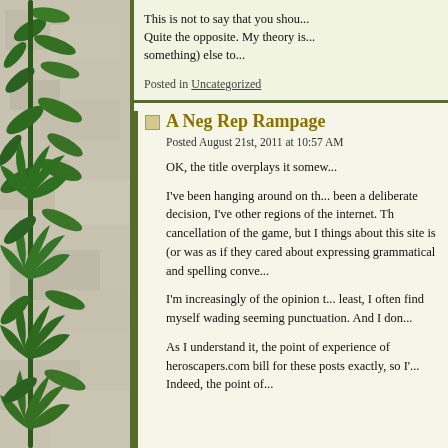[Figure (photo): Left panel showing green cannabis/hemp plant leaves against a stone/concrete textured background]
This is not to say that you shou... Quite the opposite. My theory is... something) else to...
Posted in Uncategorized
A Neg Rep Rampage
Posted August 21st, 2011 at 10:57 AM
OK, the title overplays it somew...
I've been hanging around on th... been a deliberate decision, I've other regions of the internet. Th cancellation of the game, but I things about this site is (or was as if they cared about expressing grammatical and spelling conve...
I'm increasingly of the opinion t... least, I often find myself wading seeming punctuation. And I don...
As I understand it, the point of experience of heroscapers.com bill for these posts exactly, so I'... Indeed, the point of...